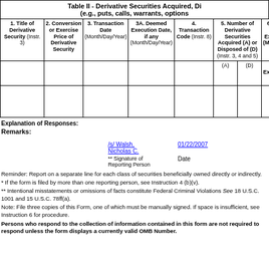Table II - Derivative Securities Acquired, Disposed of, or Beneficially Owned (e.g., puts, calls, warrants, options, convertible securities)
| 1. Title of Derivative Security (Instr. 3) | 2. Conversion or Exercise Price of Derivative Security | 3. Transaction Date (Month/Day/Year) | 3A. Deemed Execution Date, if any (Month/Day/Year) | 4. Transaction Code (Instr. 8) | 5. Number of Derivative Securities Acquired (A) or Disposed of (D) (Instr. 3, 4 and 5) - (A) | 5. Number of Derivative Securities Acquired (A) or Disposed of (D) (Instr. 3, 4 and 5) - (D) | 6. Date Exercisable and Expiration Date (Month/Day/Year) - Date Exercisable |
| --- | --- | --- | --- | --- | --- | --- | --- |
Explanation of Responses:
Remarks:
/s/ Walsh, Nicholas C.
01/22/2007
** Signature of Reporting Person    Date
Reminder: Report on a separate line for each class of securities beneficially owned directly or indirectly.
* If the form is filed by more than one reporting person, see Instruction 4 (b)(v).
** Intentional misstatements or omissions of facts constitute Federal Criminal Violations See 18 U.S.C. 1001 and 15 U.S.C. 78ff(a).
Note: File three copies of this Form, one of which must be manually signed. If space is insufficient, see Instruction 6 for procedure.
Persons who respond to the collection of information contained in this form are not required to respond unless the form displays a currently valid OMB Number.